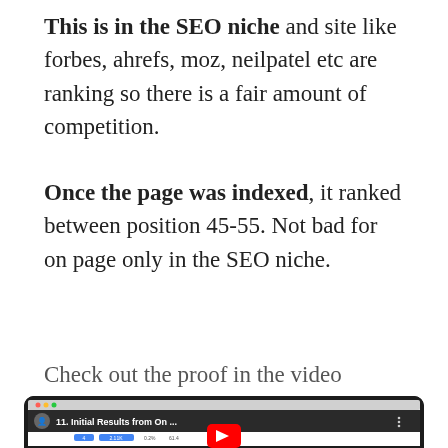This is in the SEO niche and site like forbes, ahrefs, moz, neilpatel etc are ranking so there is a fair amount of competition.
Once the page was indexed, it ranked between position 45-55. Not bad for on page only in the SEO niche.
Check out the proof in the video below:
[Figure (screenshot): Screenshot of a YouTube video thumbnail showing '11. Initial Results from On ...' with a Google Search Console analytics dashboard visible and a red YouTube play button overlay]